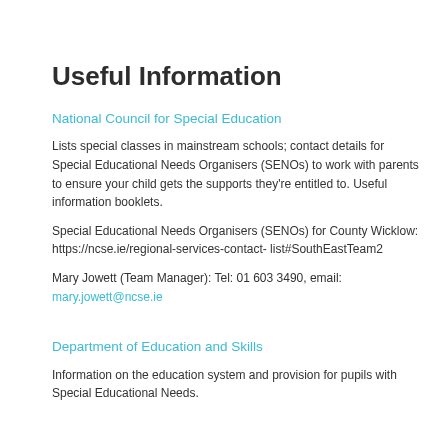Useful Information
National Council for Special Education
Lists special classes in mainstream schools; contact details for Special Educational Needs Organisers (SENOs) to work with parents to ensure your child gets the supports they're entitled to. Useful information booklets.
Special Educational Needs Organisers (SENOs) for County Wicklow: https://ncse.ie/regional-services-contact-list#SouthEastTeam2
Mary Jowett (Team Manager): Tel: 01 603 3490, email: mary.jowett@ncse.ie
Department of Education and Skills
Information on the education system and provision for pupils with Special Educational Needs.